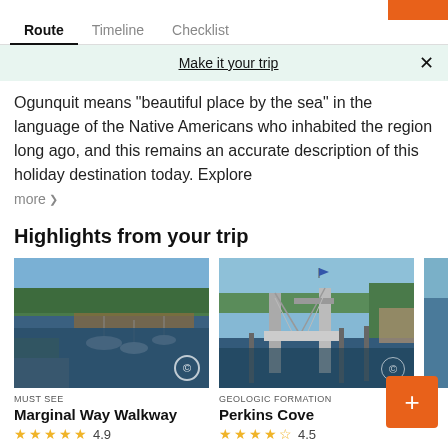Route | Timeline | Checklist
Make it your trip
Ogunquit means "beautiful place by the sea" in the language of the Native Americans who inhabited the region long ago, and this remains an accurate description of this holiday destination today. Explore more
Highlights from your trip
[Figure (photo): Marginal Way Walkway - harbor with boats]
MUST SEE
Marginal Way Walkway
4.9
[Figure (photo): Perkins Cove - pedestrian drawbridge over water]
GEOLOGIC FORMATION
Perkins Cove
4.5